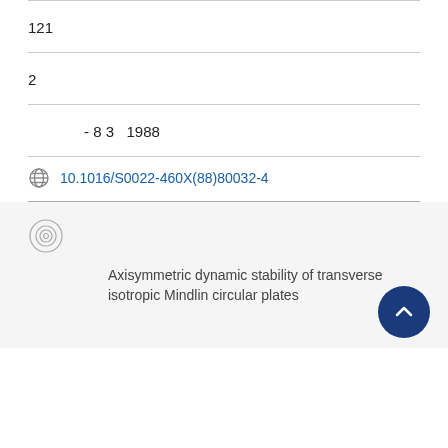121
2
- 8 3  1988
10.1016/S0022-460X(88)80032-4
Axisymmetric dynamic stability of transversely isotropic Mindlin circular plates